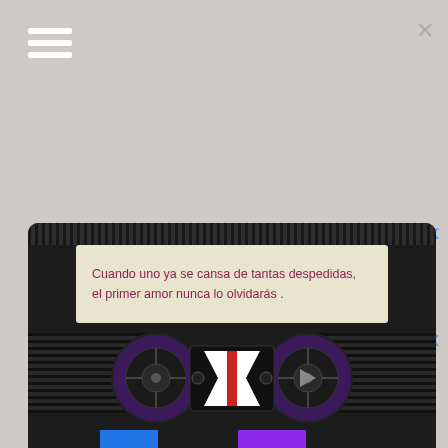[Figure (illustration): Screenshot of a mobile app or website with a hamburger menu icon top-left, a close X top-right, navigation arrows on the right side, and a cassette tape image in the lower portion. The cassette tape label reads: 'Cuando uno ya se cansa de tantas despedidas, el primer amor nunca lo olvidarás .' The cassette has colored stripes (blue and purple) at the bottom.]
Cuando uno ya se cansa de tantas despedidas, el primer amor nunca lo olvidarás .